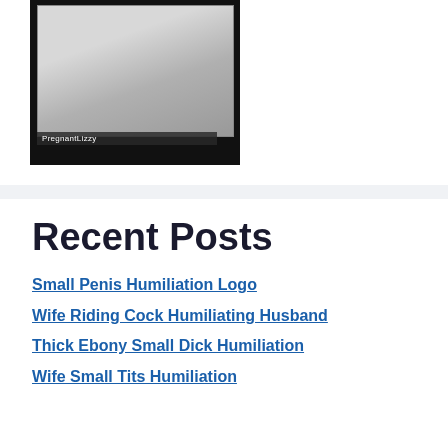[Figure (photo): A webcam-style photo with a dark/black background and label 'PregnantLizzy' in the lower portion]
Recent Posts
Small Penis Humiliation Logo
Wife Riding Cock Humiliating Husband
Thick Ebony Small Dick Humiliation
Wife Small Tits Humiliation